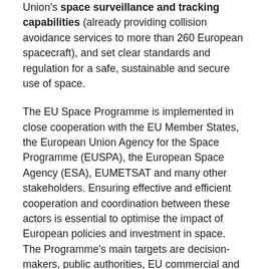Union's space surveillance and tracking capabilities (already providing collision avoidance services to more than 260 European spacecraft), and set clear standards and regulation for a safe, sustainable and secure use of space.
The EU Space Programme is implemented in close cooperation with the EU Member States, the European Union Agency for the Space Programme (EUSPA), the European Space Agency (ESA), EUMETSAT and many other stakeholders. Ensuring effective and efficient cooperation and coordination between these actors is essential to optimise the impact of European policies and investment in space. The Programme's main targets are decision-makers, public authorities, EU commercial and private users and others, such as researchers and nongovernmental organisations. Ultimately, the programme serves the needs of EU citizens. The information gathered by the EU-owned satellites and the services which they provide are a public good, freely